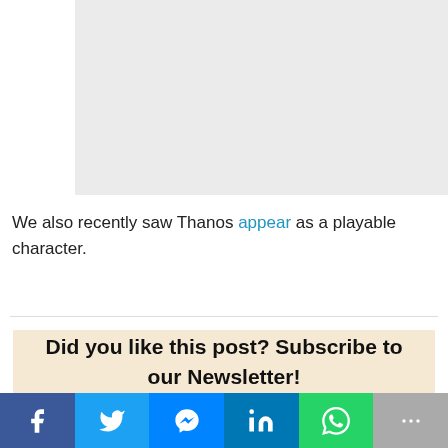[Figure (photo): Gray placeholder image area]
We also recently saw Thanos appear as a playable character.
Did you like this post? Subscribe to our Newsletter!
[Figure (infographic): Social sharing bar with Facebook, Twitter, Messenger, LinkedIn, WhatsApp, and More buttons]